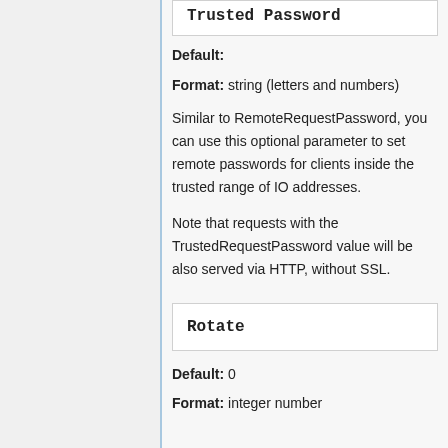Trusted Password
Default:
Format: string (letters and numbers)
Similar to RemoteRequestPassword, you can use this optional parameter to set remote passwords for clients inside the trusted range of IO addresses.
Note that requests with the TrustedRequestPassword value will be also served via HTTP, without SSL.
Rotate
Default: 0
Format: integer number